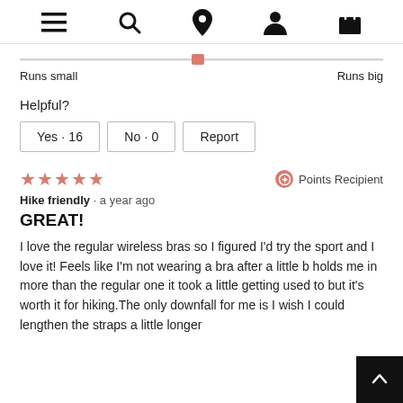Navigation bar with menu, search, location, account, and bag icons
[Figure (infographic): Fit slider bar showing position slightly left of center, with 'Runs small' on the left and 'Runs big' on the right labels]
Runs small   Runs big
Helpful?
Yes · 16   No · 0   Report
★★★★★   Points Recipient
Hike friendly · a year ago
GREAT!
I love the regular wireless bras so I figured I'd try the sport and I love it! Feels like I'm not wearing a bra after a little b holds me in more than the regular one it took a little getting used to but it's worth it for hiking.The only downfall for me is I wish I could lengthen the straps a little longer